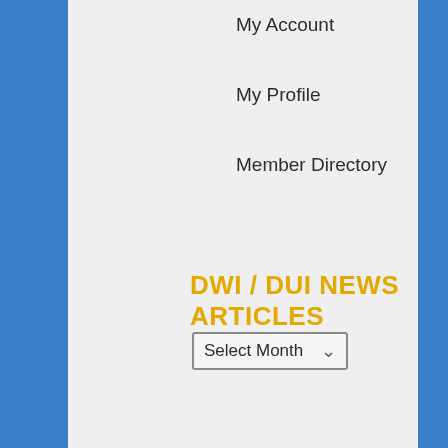My Account
My Profile
Member Directory
DWI / DUI NEWS ARTICLES
[Figure (other): Select Month dropdown menu]
DWI Arrests by State
Login
Terms of Service and Use
Links
Monthly Arrests